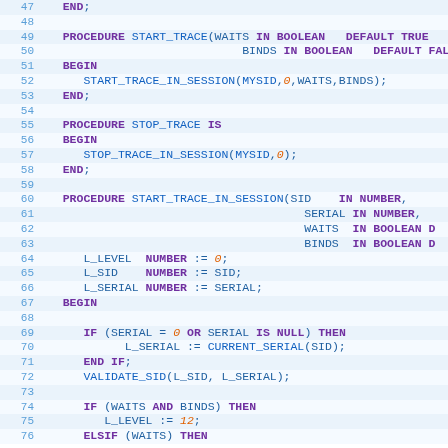[Figure (screenshot): Code editor screenshot showing PL/SQL procedure definitions with syntax highlighting, line numbers 47-76. Blue keywords, purple procedure names, orange numbers, on alternating light blue/white line backgrounds.]